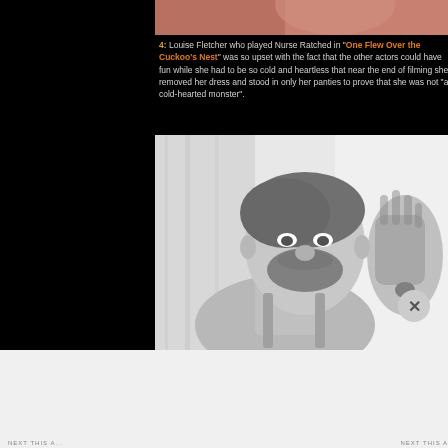[Figure (photo): Partial view of a person's face cropped at top, flesh tones visible, cropped image at top of page]
4: Louise Fletcher who played Nurse Ratched in "One Flew Over the Cuckoo's Nest" was so upset with the fact that the other actors could have fun while she had to be so cold and heartless that near the end of filming she removed her dress and stood in only her panties to prove that she was not "a cold-hearted monster".
[Figure (photo): Black and white photo of a middle-aged man with beard and mustache, wearing a light jacket, raising his right hand, with curtains visible in background]
Advertisements
[Figure (logo): Longreads advertisement banner — red background with Longreads logo and tagline: The best stories on the web — ours, and everyone else's.]